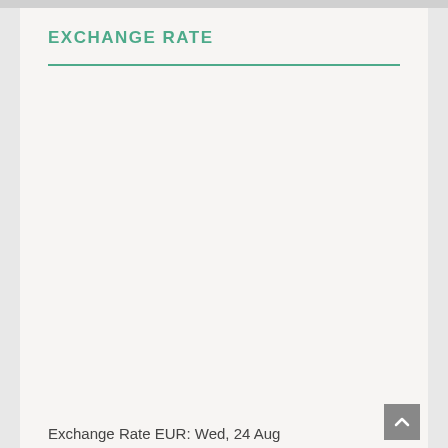EXCHANGE RATE
Exchange Rate EUR: Wed, 24 Aug